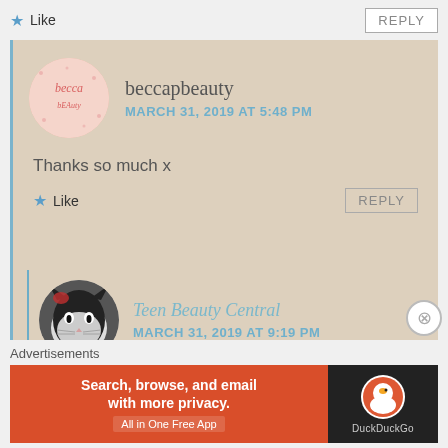★ Like
REPLY
beccapbeauty
MARCH 31, 2019 AT 5:48 PM
Thanks so much x
★ Like
REPLY
[Figure (photo): Avatar of Teen Beauty Central showing a black and white cat]
Teen Beauty Central
MARCH 31, 2019 AT 9:19 PM
🖤🧡❤️
Advertisements
[Figure (screenshot): DuckDuckGo advertisement banner: Search, browse, and email with more privacy. All in One Free App]